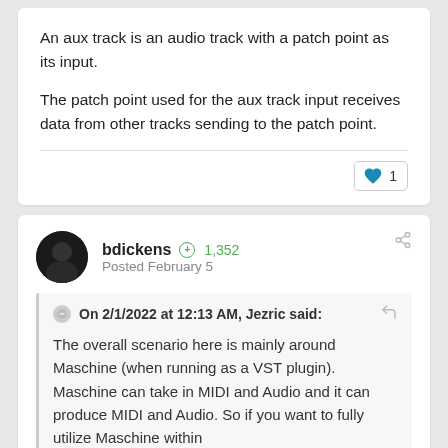An aux track is an audio track with a patch point as its input.
The patch point used for the aux track input receives data from other tracks sending to the patch point.
1
bdickens
+1,352
Posted February 5
On 2/1/2022 at 12:13 AM, Jezric said:
The overall scenario here is mainly around Maschine (when running as a VST plugin). Maschine can take in MIDI and Audio and it can produce MIDI and Audio. So if you want to fully utilize Maschine within